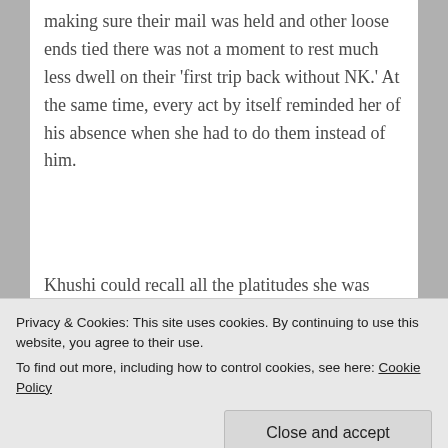making sure their mail was held and other loose ends tied there was not a moment to rest much less dwell on their 'first trip back without NK.' At the same time, every act by itself reminded her of his absence when she had to do them instead of him.
Khushi could recall all the platitudes she was offered as part of her widowhood – this too shall
Privacy & Cookies: This site uses cookies. By continuing to use this website, you agree to their use.
To find out more, including how to control cookies, see here: Cookie Policy
Close and accept